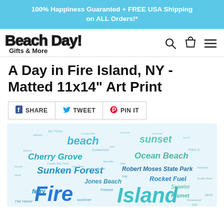100% Happiness Guaranted + FREE USA Shipping on ALL Orders!*
[Figure (logo): Beach Day! Gifts & More logo with search, cart, and menu icons]
A Day in Fire Island, NY - Matted 11x14" Art Print
SHARE  TWEET  PIN IT
[Figure (illustration): Word cloud art print featuring Fire Island, NY themed words including beach, Cherry Grove, Sunken Forest, Ocean Beach, Robert Moses State Park, Rocket Fuel, Jones Beach, Fire Island, ferry, sunset, Kismet, Seawise in various blues and teals]